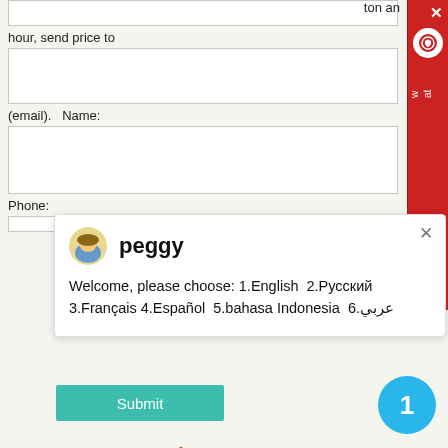ton an
hour, send price to
(email).    Name:
Phone:
peggy
Welcome, please choose: 1.English  2.Русский 3.Français 4.Español  5.bahasa Indonesia  6.عربي
Submit
1
Customer Case Site
3tph YGM130 Grinding Plant For Bauxite Processing In Spain